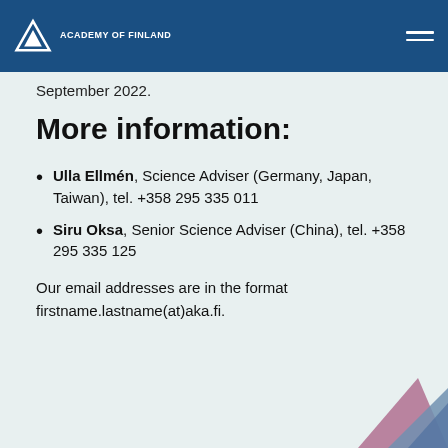Academy of Finland
September 2022.
More information:
Ulla Ellmén, Science Adviser (Germany, Japan, Taiwan), tel. +358 295 335 011
Siru Oksa, Senior Science Adviser (China), tel. +358 295 335 125
Our email addresses are in the format firstname.lastname(at)aka.fi.